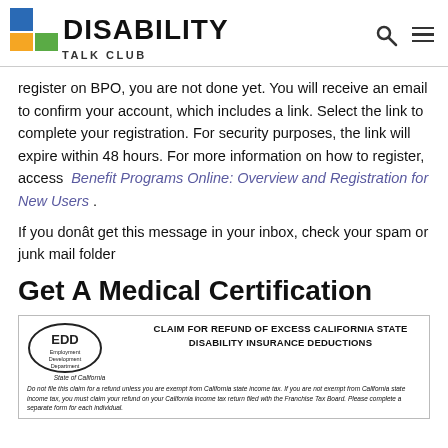DISABILITY TALK CLUB
register on BPO, you are not done yet. You will receive an email to confirm your account, which includes a link. Select the link to complete your registration. For security purposes, the link will expire within 48 hours. For more information on how to register, access Benefit Programs Online: Overview and Registration for New Users .
If you donât get this message in your inbox, check your spam or junk mail folder
Get A Medical Certification
[Figure (screenshot): EDD (Employment Development Department, State of California) form header showing 'CLAIM FOR REFUND OF EXCESS CALIFORNIA STATE DISABILITY INSURANCE DEDUCTIONS' with disclaimer text below.]